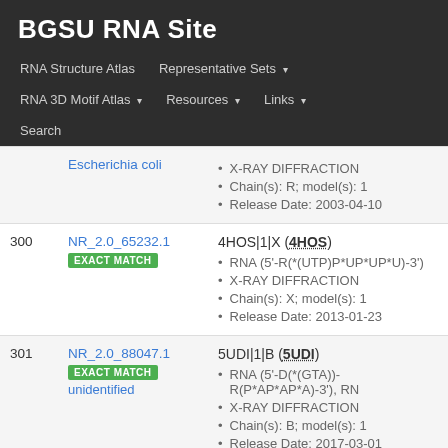BGSU RNA Site
RNA Structure Atlas | Representative Sets ▾ | RNA 3D Motif Atlas ▾ | Resources ▾ | Links ▾ | Search
| # | ID / Match | Entry |
| --- | --- | --- |
|  | Escherichia coli | X-RAY DIFFRACTION
Chain(s): R; model(s): 1
Release Date: 2003-04-10 |
| 300 | NR_2.0_65232.1
EXACT MATCH | 4HOS|1|X (4HOS)
RNA (5'-R(*(UTP)P*UP*UP*U)-3')
X-RAY DIFFRACTION
Chain(s): X; model(s): 1
Release Date: 2013-01-23 |
| 301 | NR_2.0_88047.1
EXACT MATCH
unidentified | 5UDI|1|B (5UDI)
RNA (5'-D(*(GTA))-R(P*AP*AP*A)-3'), RN...
X-RAY DIFFRACTION
Chain(s): B; model(s): 1
Release Date: 2017-03-01 |